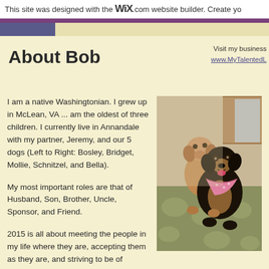This site was designed with the WiX.com website builder. Create yo
About Bob
Visit my business
www.MyTalentedL
I am a native Washingtonian. I grew up in McLean, VA ... am the oldest of three children. I currently live in Annandale with my partner, Jeremy, and our 5 dogs (Left to Right: Bosley, Bridget, Mollie, Schnitzel, and Bella).
My most important roles are that of Husband, Son, Brother, Uncle, Sponsor, and Friend.
2015 is all about meeting the people in my life where they are, accepting them as they are, and striving to be of service daily.
[Figure (photo): Two dogs sitting together on a green patterned rug near kitchen cabinets. One lighter brown dog and one darker black/tan dog wearing a pink bandana.]